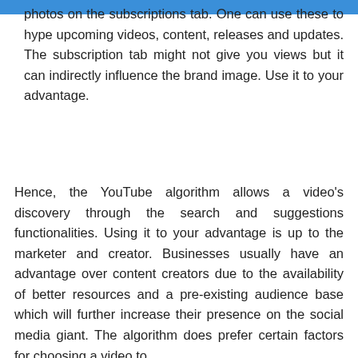photos on the subscriptions tab. One can use these to hype upcoming videos, content, releases and updates. The subscription tab might not give you views but it can indirectly influence the brand image. Use it to your advantage.
Hence, the YouTube algorithm allows a video’s discovery through the search and suggestions functionalities. Using it to your advantage is up to the marketer and creator. Businesses usually have an advantage over content creators due to the availability of better resources and a pre-existing audience base which will further increase their presence on the social media giant. The algorithm does prefer certain factors for choosing a video to